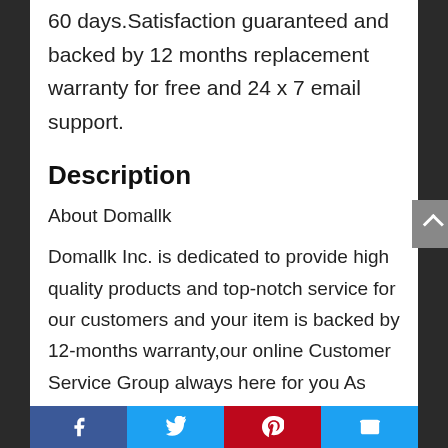60 days.Satisfaction guaranteed and backed by 12 months replacement warranty for free and 24 x 7 email support.
Description
About Domallk
Domallk Inc. is dedicated to provide high quality products and top-notch service for our customers and your item is backed by 12-months warranty,our online Customer Service Group always here for you As you
Facebook | Twitter | Pinterest | Email